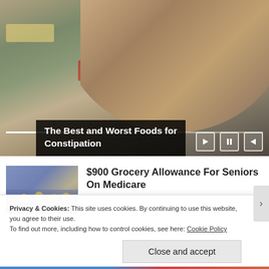[Figure (photo): A young woman reaching into a refrigerator full of food containers and jars. Video slideshow with playback controls and progress bar visible.]
The Best and Worst Foods for Constipation
[Figure (photo): Thumbnail image of people in a grocery store, used as advertisement for $900 Grocery Allowance For Seniors On Medicare.]
$900 Grocery Allowance For Seniors On Medicare
Privacy & Cookies: This site uses cookies. By continuing to use this website, you agree to their use.
To find out more, including how to control cookies, see here: Cookie Policy
Close and accept